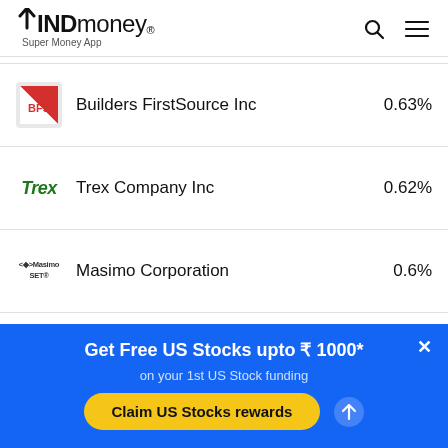INDmoney® Super Money App
Builders FirstSource Inc  0.63%
Trex Company Inc  0.62%
Masimo Corporation  0.6%
Get Free US Stocks upto ₹ 1000* on your 1st US Stock funding
Claim US Stocks rewards